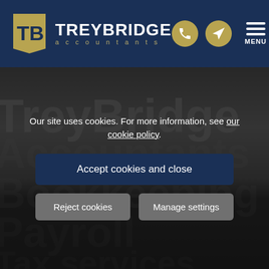[Figure (logo): TreyBridge Accountants logo with TB gold emblem, white wordmark TREYBRIDGE and tagline 'accountants', gold phone icon, gold send/location icon, and white hamburger MENU icon on dark navy header]
[Figure (screenshot): TreyBridge Accountants website hero section with large white bold text 'TreyBridge Accountants' and faded watermark service words: Accountants, Bookkeeping, Payroll, Tax services on a grey-to-dark gradient background]
Our site uses cookies. For more information, see our cookie policy.
Accept cookies and close
Reject cookies
Manage settings